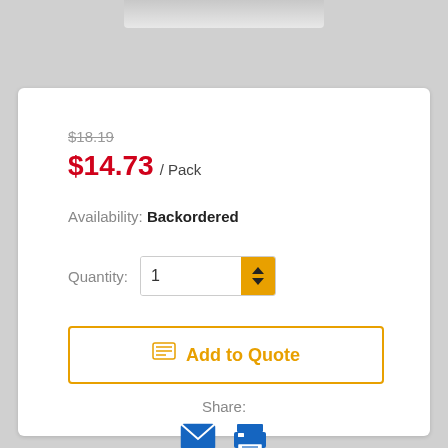[Figure (photo): Partial product image at top of page, cropped]
$18.19 (strikethrough original price)
$14.73 / Pack
Availability: Backordered
Quantity: 1
Add to Quote
Share:
[Figure (illustration): Email icon (blue envelope) and print icon (blue printer) for sharing]